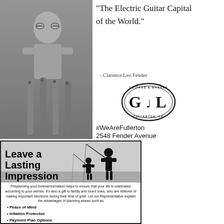[Figure (photo): Black and white photo of an elderly man (Clarence Leo Fender) working with guitar necks/instruments]
"The Electric Guitar Capital of the World."
- Clarence Leo Fender
[Figure (logo): G&L Guitars logo - circular badge with G&L letters and text GUITARS & BASSES / FULLERTON, CA]
#WeAreFullerton
2548 Fender Avenue
[Figure (photo): Silhouette of adult and child fishing together against a bright background]
Leave a Lasting Impression
Preplanning your funeral/cremation helps to ensure that your life is celebrated according to your wishes. It's also a gift to family and loved ones, who are relieved of making important decisions during their time of grief. Let our Representative explain the advantages of planning ahead such as
Peace of Mind
Inflation Protected
Payment Plan Options